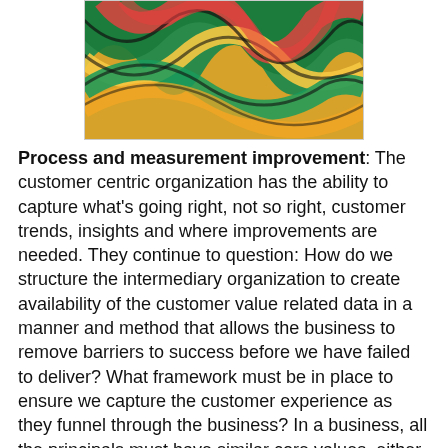[Figure (illustration): Abstract colorful swirling pattern with greens, oranges, reds, yellows, and teals in a psychedelic style]
Process and measurement improvement: The customer centric organization has the ability to capture what's going right, not so right, customer trends, insights and where improvements are needed. They continue to question: How do we structure the intermediary organization to create availability of the customer value related data in a manner and method that allows the business to remove barriers to success before we have failed to deliver? What framework must be in place to ensure we capture the customer experience as they funnel through the business? In a business, all the principals must have similar core values, either being customer-centricity or employee satisfaction: they do not need to be “identical”; but if there are major differences in key areas they will inevitably cause conflict.
There are both objective &subjective component, and direct & indirect factors to measure customer value effectively, the point is to understand customers with empathy and perceive